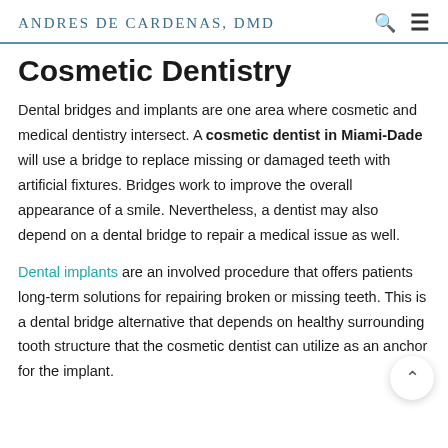ANDRES DE CARDENAS, DMD
Cosmetic Dentistry
Dental bridges and implants are one area where cosmetic and medical dentistry intersect. A cosmetic dentist in Miami-Dade will use a bridge to replace missing or damaged teeth with artificial fixtures. Bridges work to improve the overall appearance of a smile. Nevertheless, a dentist may also depend on a dental bridge to repair a medical issue as well.
Dental implants are an involved procedure that offers patients long-term solutions for repairing broken or missing teeth. This is a dental bridge alternative that depends on healthy surrounding tooth structure that the cosmetic dentist can utilize as an anchor for the implant.